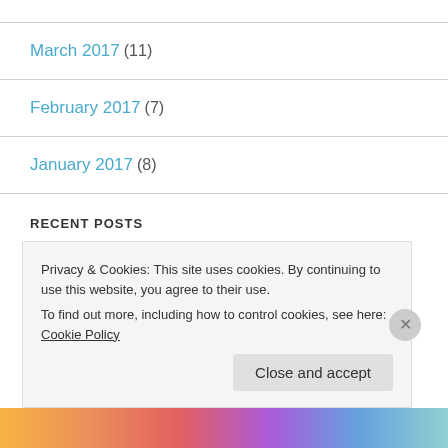March 2017 (11)
February 2017 (7)
January 2017 (8)
RECENT POSTS
My Nashville Bridge Walk October 26, 2017
Privacy & Cookies: This site uses cookies. By continuing to use this website, you agree to their use.
To find out more, including how to control cookies, see here: Cookie Policy
Close and accept